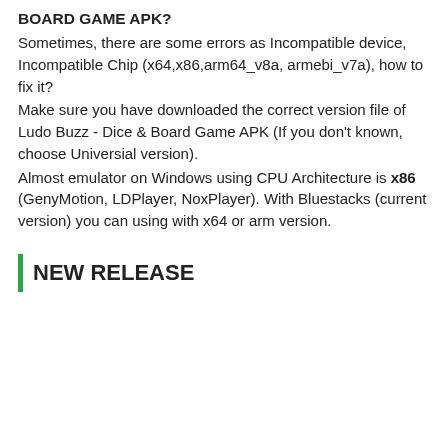BOARD GAME APK?
Sometimes, there are some errors as Incompatible device, Incompatible Chip (x64,x86,arm64_v8a, armebi_v7a), how to fix it?
Make sure you have downloaded the correct version file of Ludo Buzz - Dice & Board Game APK (If you don't known, choose Universial version).
Almost emulator on Windows using CPU Architecture is x86 (GenyMotion, LDPlayer, NoxPlayer). With Bluestacks (current version) you can using with x64 or arm version.
NEW RELEASE